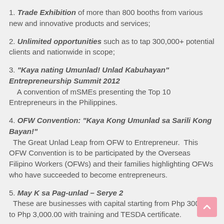1. Trade Exhibition of more than 800 booths from various new and innovative products and services;
2. Unlimited opportunities such as to tap 300,000+ potential clients and nationwide in scope;
3. "Kaya nating Umunlad! Unlad Kabuhayan" Entrepreneurship Summit 2012 — A convention of mSMEs presenting the Top 10 Entrepreneurs in the Philippines.
4. OFW Convention: "Kaya Kong Umunlad sa Sarili Kong Bayan!" The Great Unlad Leap from OFW to Entrepreneur. This OFW Convention is to be participated by the Overseas Filipino Workers (OFWs) and their families highlighting OFWs who have succeeded to become entrepreneurs.
5. May K sa Pag-unlad – Serye 2 — These are businesses with capital starting from Php 300.00 to Php 3,000.00 with training and TESDA certificate.
6. Unlad to The Max! — These are SME business skills training seminar series